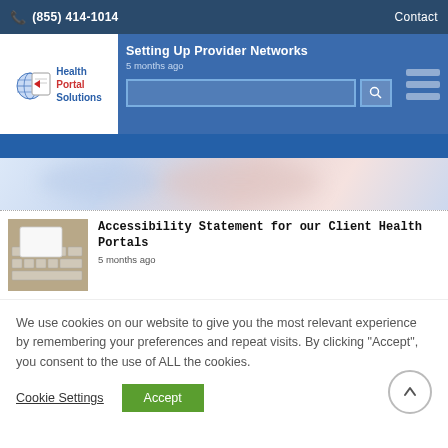(855) 414-1014   Contact
[Figure (logo): Health Portal Solutions logo with globe icon]
Setting Up Provider Networks
5 months ago
[Figure (screenshot): Blurred hero banner image with light blue and pink gradient]
[Figure (photo): Photo of keyboard with a blank white card on top]
Accessibility Statement for our Client Health Portals
5 months ago
We use cookies on our website to give you the most relevant experience by remembering your preferences and repeat visits. By clicking “Accept”, you consent to the use of ALL the cookies.
Cookie Settings
Accept